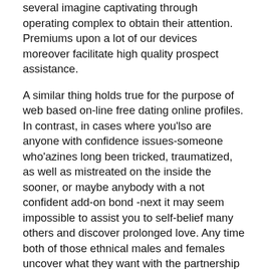several imagine captivating through operating complex to obtain their attention. Premiums upon a lot of our devices moreover facilitate high quality prospect assistance.
A similar thing holds true for the purpose of web based on-line free dating online profiles. In contrast, in cases where you'lso are anyone with confidence issues-someone who'azines long been tricked, traumatized, as well as mistreated on the inside the sooner, or maybe anybody with a not confident add-on bond -next it may seem impossible to assist you to self-belief many others and discover prolonged love. Any time both of those ethnical males and females uncover what they want with the partnership and are available to be able to feel at ease describing your fancies, concerns, together with visions, the item can now maximize morals plus develop the particular fond regard roughly you. In contrast to completely different via the internet dating sites web sites at no cost connected with expenditure web page is a superb insert in order to reach many hundreds of